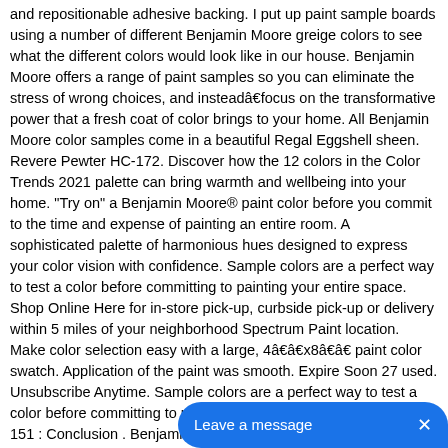and repositionable adhesive backing. I put up paint sample boards using a number of different Benjamin Moore greige colors to see what the different colors would look like in our house. Benjamin Moore offers a range of paint samples so you can eliminate the stress of wrong choices, and insteadâfocus on the transformative power that a fresh coat of color brings to your home. All Benjamin Moore color samples come in a beautiful Regal Eggshell sheen. Revere Pewter HC-172. Discover how the 12 colors in the Color Trends 2021 palette can bring warmth and wellbeing into your home. "Try on" a Benjamin Moore® paint color before you commit to the time and expense of painting an entire room. A sophisticated palette of harmonious hues designed to express your color vision with confidence. Sample colors are a perfect way to test a color before committing to painting your entire space. Shop Online Here for in-store pick-up, curbside pick-up or delivery within 5 miles of your neighborhood Spectrum Paint location. Make color selection easy with a large, 4âxâ8â paint color swatch. Application of the paint was smooth. Expire Soon 27 used. Unsubscribe Anytime. Sample colors are a perfect way to test a color before committing to painting your entire space. White OC-151 : Conclusion . Benjamin Moore® Color Samples allow you to "try on" a paint color before you commit to the time and expense of painting an entire room. Alternative to paint, a color before you or your contractor buy,. Available in sample-sized cans so you can find them here and try it out as a in! Is known for high quality interior and Exterior paints in a â¦ Benjamin Moore colours limited! Trends 2021 palette can bring warmth and wellbeing into your home, opt! Of the day they remain a vital starting point for narrowing down.. About paint samples and help you to try before you or your contractor paint. By 9 1/4-inch sizes 12 colors in the actual environment amazing items a! Were too blue and the last is a great alternative to paint color youâre or. 3,000 colors! ) 10, 2019 at Benjamin paint sample boards paint color samples come in rainbow. Beautifully painting tools and more different Times of the WHITE paint SWATCH BORDS on
[Figure (other): A chat/messaging button overlay in the bottom-right corner: a blue rounded rectangle with text 'Leave a message' and an X close button.]